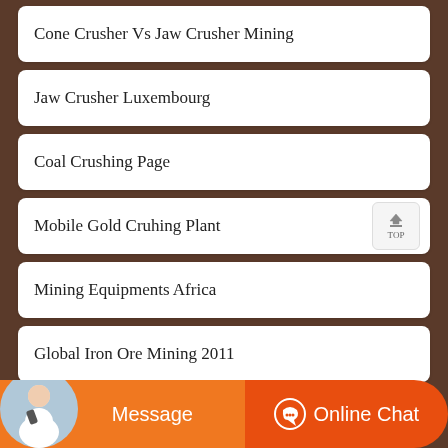Cone Crusher Vs Jaw Crusher Mining
Jaw Crusher Luxembourg
Coal Crushing Page
Mobile Gold Cruhing Plant
Mining Equipments Africa
Global Iron Ore Mining 2011
Message
Online Chat